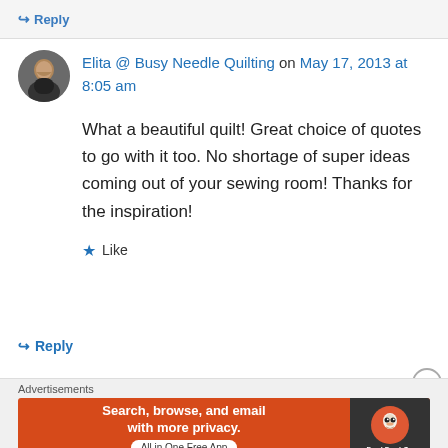↪ Reply
Elita @ Busy Needle Quilting on May 17, 2013 at 8:05 am
What a beautiful quilt! Great choice of quotes to go with it too. No shortage of super ideas coming out of your sewing room! Thanks for the inspiration!
★ Like
↪ Reply
Advertisements
[Figure (screenshot): DuckDuckGo advertisement banner: orange background with text 'Search, browse, and email with more privacy. All in One Free App', with DuckDuckGo duck logo on dark right panel]